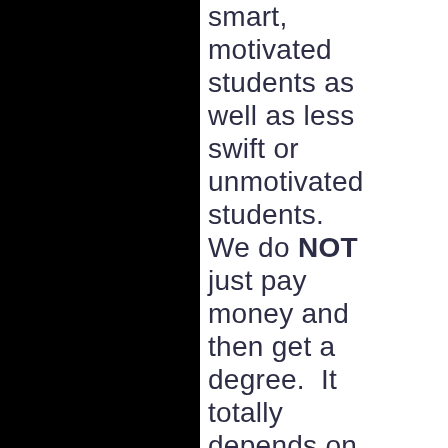smart, motivated students as well as less swift or unmotivated students. We do NOT just pay money and then get a degree.  It totally depends on which university you are talking about.  Some of the anti-Americanism on this website is really going too far.